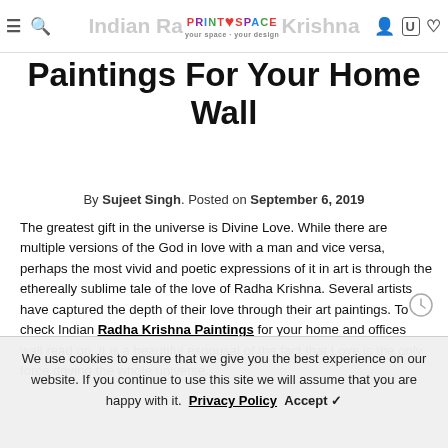Indian Radha Krishna Paintings For Your Home Wall — PrintSpace navigation header
Paintings For Your Home Wall
By Sujeet Singh. Posted on September 6, 2019
The greatest gift in the universe is Divine Love. While there are multiple versions of the God in love with a man and vice versa, perhaps the most vivid and poetic expressions of it in art is through the ethereally sublime tale of the love of Radha Krishna. Several artists have captured the depth of their love through their art paintings. To check Indian Radha Krishna Paintings for your home and offices wall read on. It is a beautiful espousal of the fact that Love is the only force driving the whole universe.
We use cookies to ensure that we give you the best experience on our website. If you continue to use this site we will assume that you are happy with it. Privacy Policy Accept ✓